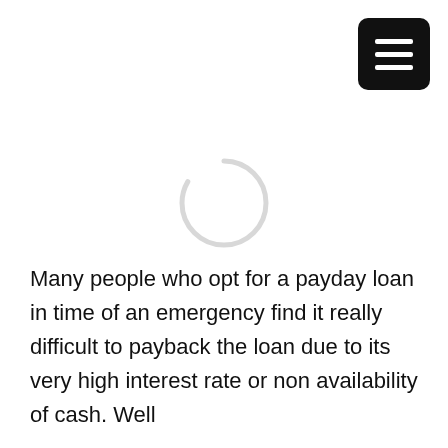[Figure (other): Hamburger menu icon button — black rounded rectangle with three white horizontal lines]
[Figure (other): Loading spinner — thin light-gray circle arc indicating content is loading]
Many people who opt for a payday loan in time of an emergency find it really difficult to payback the loan due to its very high interest rate or non availability of cash. Well